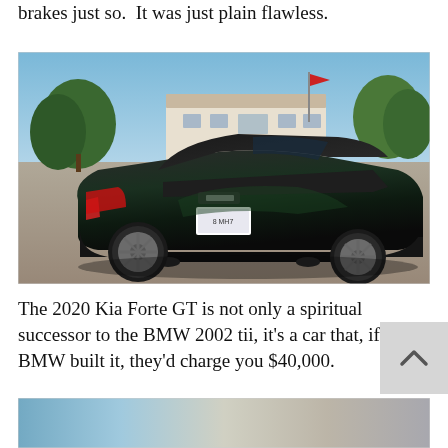brakes just so.  It was just plain flawless.
[Figure (photo): Rear three-quarter view of a dark grey 2020 Kia Forte GT sedan parked in a sunny lot with shops and trees in background]
The 2020 Kia Forte GT is not only a spiritual successor to the BMW 2002 tii, it's a car that, if BMW built it, they'd charge you $40,000.
[Figure (photo): Partial view of another photo below, showing a blurred car image]